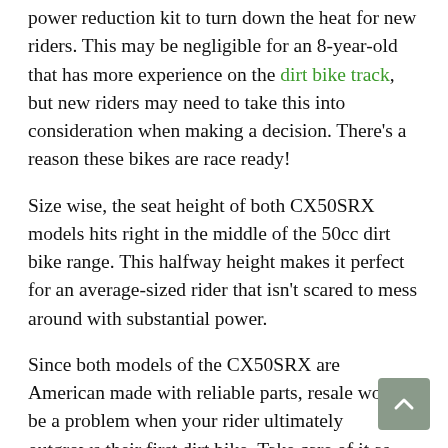power reduction kit to turn down the heat for new riders. This may be negligible for an 8-year-old that has more experience on the dirt bike track, but new riders may need to take this into consideration when making a decision. There's a reason these bikes are race ready!
Size wise, the seat height of both CX50SRX models hits right in the middle of the 50cc dirt bike range. This halfway height makes it perfect for an average-sized rider that isn't scared to mess around with substantial power.
Since both models of the CX50SRX are American made with reliable parts, resale won't be a problem when your rider ultimately outgrows their first dirt bike. Take care of it as with any other dirt bike and you will reap the rewards.